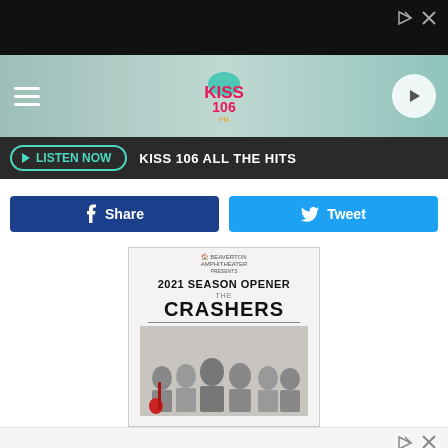[Figure (screenshot): Top black ad bar with ad icons (forward and X) in top right corner]
[Figure (logo): KISS 106 radio station header bar with logo in center, hamburger menu on left, play button on right, teal/mint gradient background]
LISTEN NOW  KISS 106 ALL THE HITS
Share
Tweet
[Figure (photo): Event poster for 2021 Season Opener featuring The Crashers band, with five band members posing, one holding a red guitar]
[Figure (screenshot): Bottom advertisement bar with ad icons]